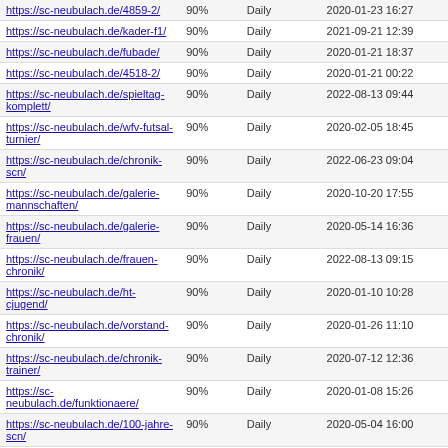| https://sc-neubulach.de/4859-2/ | 90% | Daily | 2020-01-23 16:27 |
| https://sc-neubulach.de/kader-f1/ | 90% | Daily | 2021-09-21 12:39 |
| https://sc-neubulach.de/fubade/ | 90% | Daily | 2020-01-21 18:37 |
| https://sc-neubulach.de/4518-2/ | 90% | Daily | 2020-01-21 00:22 |
| https://sc-neubulach.de/spieltag-komplett/ | 90% | Daily | 2022-08-13 09:44 |
| https://sc-neubulach.de/wfv-futsal-turnier/ | 90% | Daily | 2020-02-05 18:45 |
| https://sc-neubulach.de/chronik-scn/ | 90% | Daily | 2022-06-23 09:04 |
| https://sc-neubulach.de/galerie-mannschaften/ | 90% | Daily | 2020-10-20 17:55 |
| https://sc-neubulach.de/galerie-frauen/ | 90% | Daily | 2020-05-14 16:36 |
| https://sc-neubulach.de/frauen-chronik/ | 90% | Daily | 2022-08-13 09:15 |
| https://sc-neubulach.de/ht-cjugend/ | 90% | Daily | 2020-01-10 10:28 |
| https://sc-neubulach.de/vorstand-chronik/ | 90% | Daily | 2020-01-26 11:10 |
| https://sc-neubulach.de/chronik-trainer/ | 90% | Daily | 2020-07-12 12:36 |
| https://sc-neubulach.de/funktionaere/ | 90% | Daily | 2020-01-08 15:26 |
| https://sc-neubulach.de/100-jahre-scn/ | 90% | Daily | 2020-05-04 16:00 |
| https://sc-neubulach.de/startseite-gs/ | 90% | Daily | 2020-01-12 16:12 |
Generated with Google (XML) Sitemaps Generator Plugin for WordPress by Auctollo. This XSLT template is released under the GPL and free to use. If you have problems with your sitemap please visit the support forum.